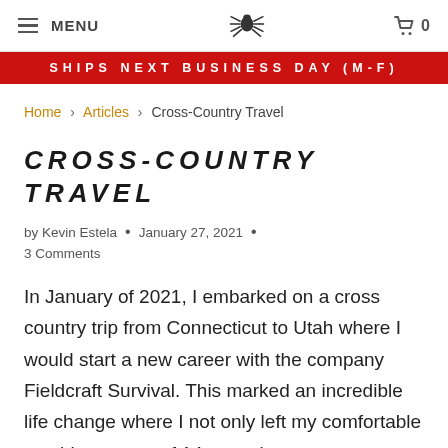MENU | [spider logo] | cart 0
SHIPS NEXT BUSINESS DAY (M-F)
Home > Articles > Cross-Country Travel
CROSS-COUNTRY TRAVEL
by Kevin Estela  •  January 27, 2021  •
3 Comments
In January of 2021, I embarked on a cross country trip from Connecticut to Utah where I would start a new career with the company Fieldcraft Survival. This marked an incredible life change where I not only left my comfortable teaching career of 14 years in a